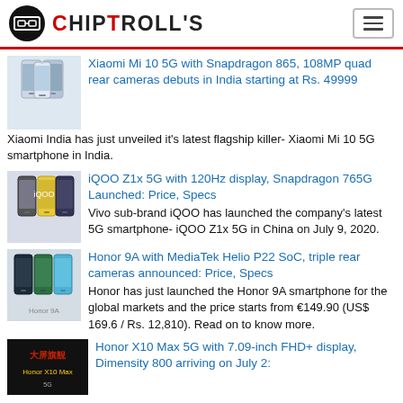CHIPTROLL'S
[Figure (photo): Xiaomi Mi 10 5G smartphone product image]
Xiaomi Mi 10 5G with Snapdragon 865, 108MP quad rear cameras debuts in India starting at Rs. 49999
Xiaomi India has just unveiled it's latest flagship killer- Xiaomi Mi 10 5G smartphone in India.
[Figure (photo): iQOO Z1x 5G smartphone product image]
iQOO Z1x 5G with 120Hz display, Snapdragon 765G Launched: Price, Specs
Vivo sub-brand iQOO has launched the company's latest 5G smartphone- iQOO Z1x 5G in China on July 9, 2020.
[Figure (photo): Honor 9A smartphone product image]
Honor 9A with MediaTek Helio P22 SoC, triple rear cameras announced: Price, Specs
Honor has just launched the Honor 9A smartphone for the global markets and the price starts from €149.90 (US$ 169.6 / Rs. 12,810). Read on to know more.
[Figure (photo): Honor X10 Max 5G product promotional image]
Honor X10 Max 5G with 7.09-inch FHD+ display, Dimensity 800 arriving on July 2: